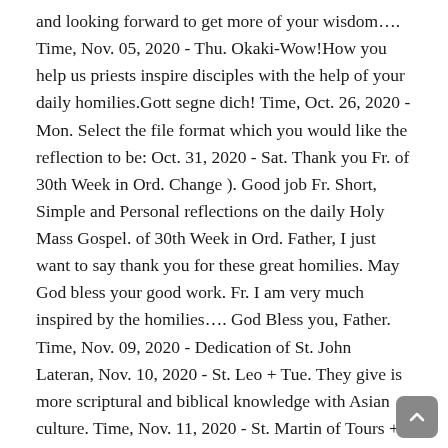and looking forward to get more of your wisdom…. Time, Nov. 05, 2020 - Thu. Okaki-Wow!How you help us priests inspire disciples with the help of your daily homilies.Gott segne dich! Time, Oct. 26, 2020 - Mon. Select the file format which you would like the reflection to be: Oct. 31, 2020 - Sat. Thank you Fr. of 30th Week in Ord. Change ). Good job Fr. Short, Simple and Personal reflections on the daily Holy Mass Gospel. of 30th Week in Ord. Father, I just want to say thank you for these great homilies. May God bless your good work. Fr. I am very much inspired by the homilies…. God Bless you, Father. Time, Nov. 09, 2020 - Dedication of St. John Lateran, Nov. 10, 2020 - St. Leo + Tue. They give is more scriptural and biblical knowledge with Asian culture. Time, Nov. 11, 2020 - St. Martin of Tours + Wed. of 32nd Week in Ord. Create a free website or blog at WordPress.com. Simon and Jude, Oct. 27, 2020 -